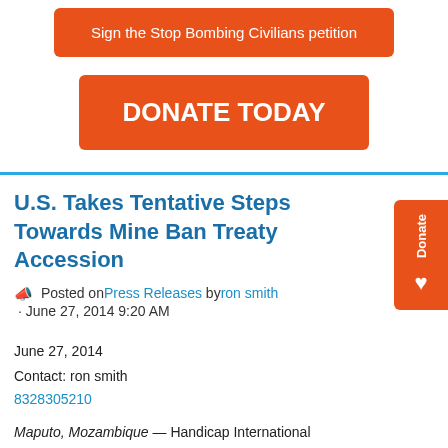Sign the Stop Bombing Civilians petition
DONATE TODAY
U.S. Takes Tentative Steps Towards Mine Ban Treaty Accession
Posted on Press Releases by ron smith · June 27, 2014 9:20 AM
June 27, 2014
Contact: ron smith
8328305210
Maputo, Mozambique — Handicap International